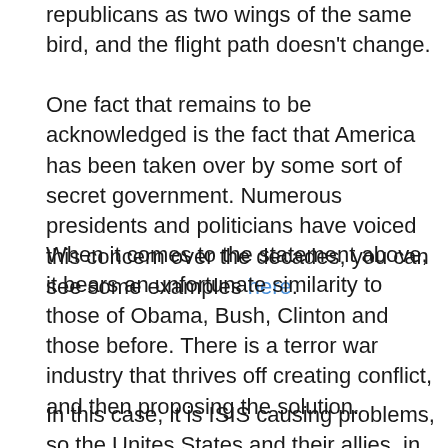republicans as two wings of the same bird, and the flight path doesn't change.
One fact that remains to be acknowledged is the fact that America has been taken over by some sort of secret government. Numerous presidents and politicians have voiced this concern over the decades, you can see some examples here.
When it comes to the statement above, it bears an unfortunate similarity to those of Obama, Bush, Clinton and those before. There is a terror war industry that thrives off creating conflict, and then proposing the solution.
In this case, it is ISIS causing problems, so the Unites States and their allies, in the eyes of the